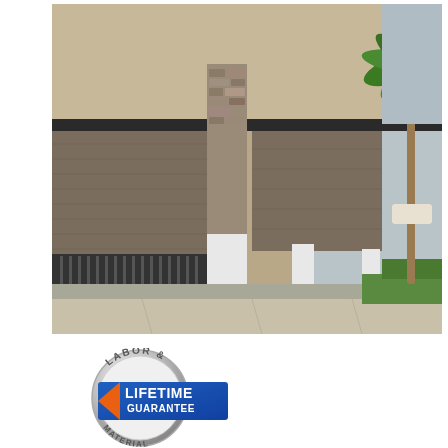[Figure (photo): Exterior photo of a commercial building with large brown retractable roll-down screens/shades covering the storefront. Stone-clad column visible in the center. White column bases at ground level. A palm tree is visible on the right side. Concrete sidewalk in the foreground with green landscaping.]
[Figure (logo): Circular metallic silver badge with text 'LABOR &' at the top and partial text at the bottom. In the center is a blue rectangle with an orange arrow/chevron on the left and white text reading 'LIFETIME GUARANTEE'.]